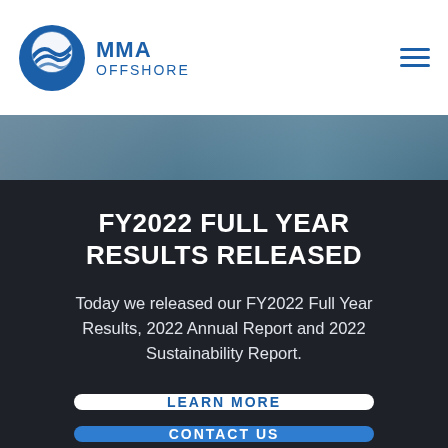[Figure (logo): MMA Offshore logo with circular wave/globe icon in blue and white, with text MMA OFFSHORE]
[Figure (photo): Partial hero image showing ocean/sea surface with blue-grey tones]
FY2022 FULL YEAR RESULTS RELEASED
Today we released our FY2022 Full Year Results, 2022 Annual Report and 2022 Sustainability Report.
LEARN MORE
CONTACT US